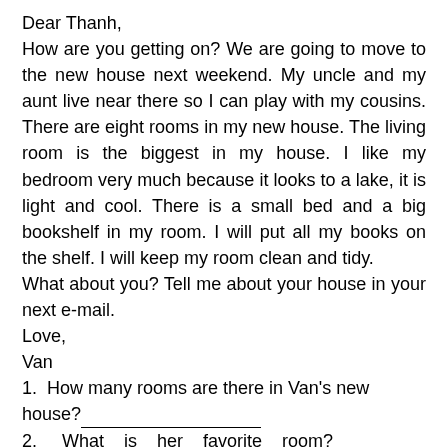Dear Thanh,
How are you getting on? We are going to move to the new house next weekend. My uncle and my aunt live near there so I can play with my cousins. There are eight rooms in my new house. The living room is the biggest in my house. I like my bedroom very much because it looks to a lake, it is light and cool. There is a small bed and a big bookshelf in my room. I will put all my books on the shelf. I will keep my room clean and tidy.
What about you? Tell me about your house in your next e-mail.
Love,
Van
1.  How many rooms are there in Van's new house?___________________
2.    What    is    her    favorite    room?___________________